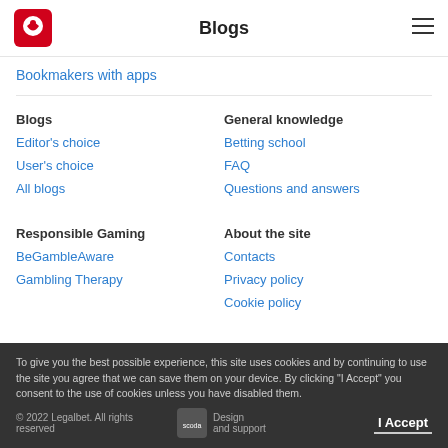Blogs
Bookmakers with apps
Blogs
Editor's choice
User's choice
All blogs
General knowledge
Betting school
FAQ
Questions and answers
Responsible Gaming
BeGambleAware
Gambling Therapy
About the site
Contacts
Privacy policy
Cookie policy
To give you the best possible experience, this site uses cookies and by continuing to use the site you agree that we can save them on your device. By clicking “I Accept” you consent to the use of cookies unless you have disabled them.
© 2022 Legalbet. All rights reserved